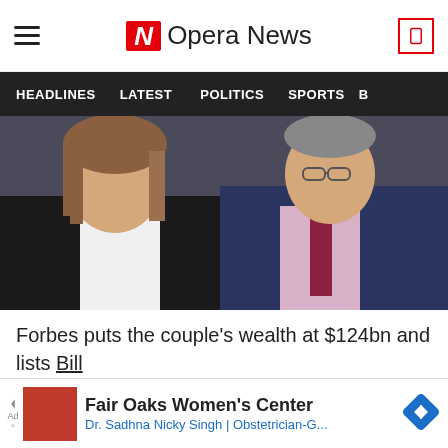Opera News
HEADLINES   LATEST   POLITICS   SPORTS
[Figure (photo): Photo of Melinda and Bill Gates, both smiling. Melinda is on the left wearing a black blazer and white blouse. Bill is on the right wearing a dark navy suit with a pink shirt and patterned burgundy tie.]
Forbes puts the couple's wealth at $124bn and lists Bill Gates as the world's fourth richest person.
Fair Oaks Women's Center Dr. Sadhna Nicky Singh | Obstetrician-G...